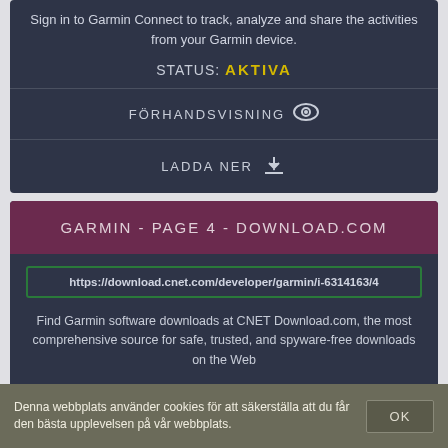Sign in to Garmin Connect to track, analyze and share the activities from your Garmin device.
STATUS: AKTIVA
FÖRHANDSVISNING
LADDA NER
GARMIN - PAGE 4 - DOWNLOAD.COM
https://download.cnet.com/developer/garmin/i-6314163/4
Find Garmin software downloads at CNET Download.com, the most comprehensive source for safe, trusted, and spyware-free downloads on the Web
STATUS: AKTIVA
Denna webbplats använder cookies för att säkerställa att du får den bästa upplevelsen på vår webbplats.